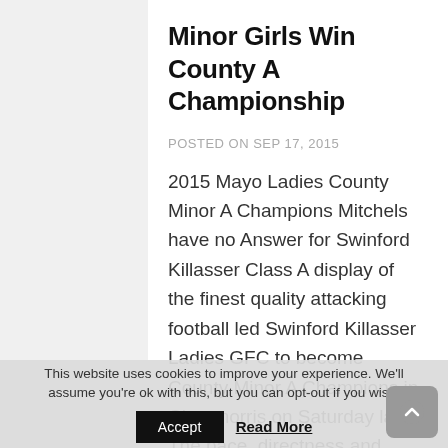Minor Girls Win County A Championship
POSTED ON SEP 17, 2015
2015 Mayo Ladies County Minor A Champions Mitchels have no Answer for Swinford Killasser Class A display of the finest quality attacking football led Swinford Killasser Ladies GFC to become County Minor A Champions in Claremorris on Saturday last. The pace, directness and accuracy of the
This website uses cookies to improve your experience. We'll assume you're ok with this, but you can opt-out if you wish. Accept  Read More